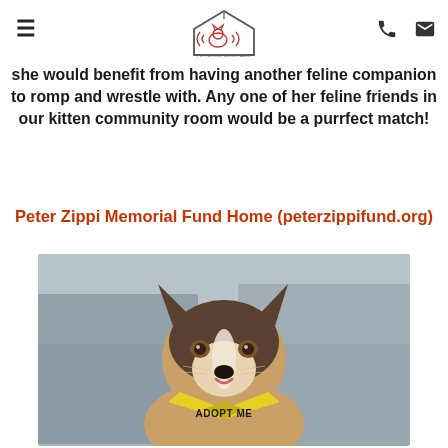Pet Rescue Music Radio [logo] [phone] [email]
she would benefit from having another feline companion to romp and wrestle with. Any one of her feline friends in our kitten community room would be a purrfect match!
Peter Zippi Memorial Fund Home (peterzippifund.org)
[Figure (photo): A Husky/shepherd mix dog looking at the camera, wearing a yellow bandana that reads 'ADOPT ME', with a cloudy sky and blurred background.]